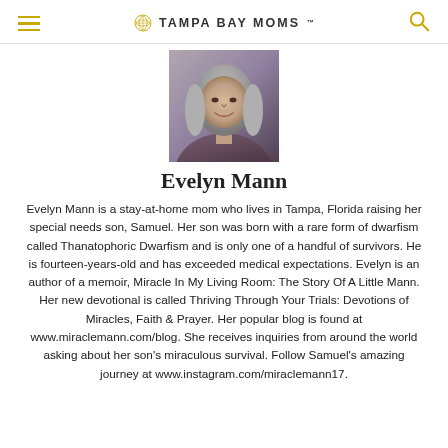TAMPA BAY MOMS
[Figure (photo): Headshot photo of Evelyn Mann, a woman with shoulder-length gray hair, smiling, wearing a dark purple top]
Evelyn Mann
Evelyn Mann is a stay-at-home mom who lives in Tampa, Florida raising her special needs son, Samuel. Her son was born with a rare form of dwarfism called Thanatophoric Dwarfism and is only one of a handful of survivors. He is fourteen-years-old and has exceeded medical expectations. Evelyn is an author of a memoir, Miracle In My Living Room: The Story Of A Little Mann. Her new devotional is called Thriving Through Your Trials: Devotions of Miracles, Faith & Prayer. Her popular blog is found at www.miraclemann.com/blog. She receives inquiries from around the world asking about her son's miraculous survival. Follow Samuel's amazing journey at www.instagram.com/miraclemann17.